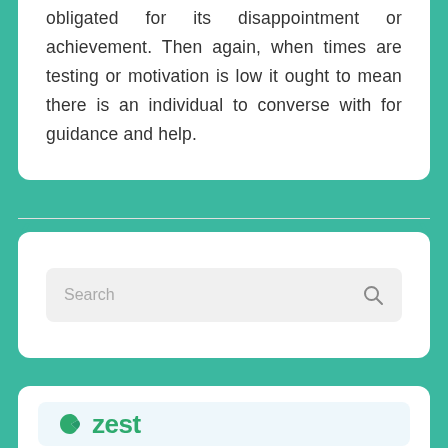obligated for its disappointment or achievement. Then again, when times are testing or motivation is low it ought to mean there is an individual to converse with for guidance and help.
[Figure (screenshot): Search bar with placeholder text 'Search' and a magnifying glass icon on the right, on a light gray background]
[Figure (logo): Zest logo — green leaf/z icon followed by the word 'zest' in bold green text on a light blue background]